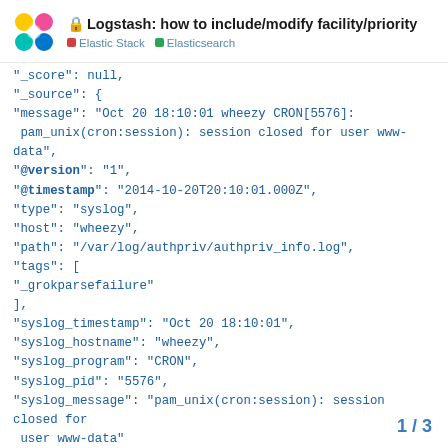Logstash: how to include/modify facility/priority | Elastic Stack | Elasticsearch
"_score": null,
"_source": {
"message": "Oct 20 18:10:01 wheezy CRON[5576]: pam_unix(cron:session): session closed for user www-data",
"@version": "1",
"@timestamp": "2014-10-20T20:10:01.000Z",
"type": "syslog",
"host": "wheezy",
"path": "/var/log/authpriv/authpriv_info.log",
"tags": [
"_grokparsefailure"
],
"syslog_timestamp": "Oct 20 18:10:01",
"syslog_hostname": "wheezy",
"syslog_program": "CRON",
"syslog_pid": "5576",
"syslog_message": "pam_unix(cron:session): session closed for user www-data"
},
1 / 3